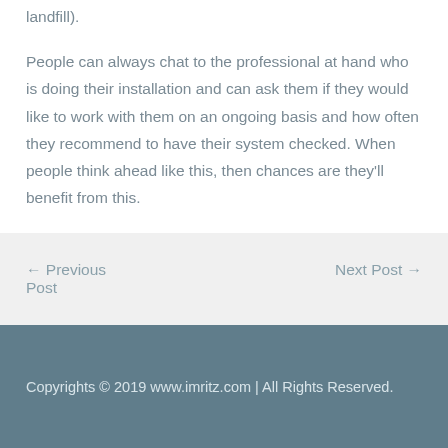landfill).
People can always chat to the professional at hand who is doing their installation and can ask them if they would like to work with them on an ongoing basis and how often they recommend to have their system checked. When people think ahead like this, then chances are they'll benefit from this.
← Previous Post
Next Post →
Copyrights © 2019 www.imritz.com | All Rights Reserved.